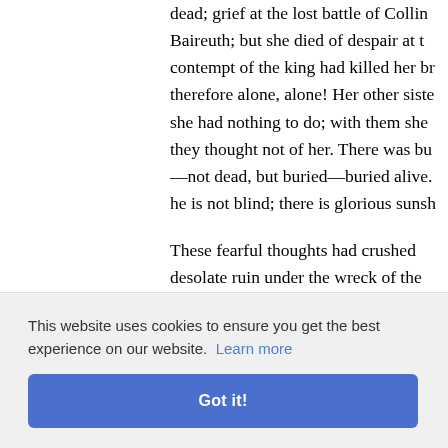dead; grief at the lost battle of Collin Baireuth; but she died of despair at the contempt of the king had killed her bro therefore alone, alone! Her other sisters she had nothing to do; with them she they thought not of her. There was but —not dead, but buried—buried alive. T he is not blind; there is glorious sunshi
These fearful thoughts had crushed A desolate ruin under the wreck of the p laughed them to scorn; she had no mo crushed, her heart was glad; her own npathy, u ve, kno uspected; off. Per s the ref was not f Frederic
This website uses cookies to ensure you get the best experience on our website. Learn more
Got it!